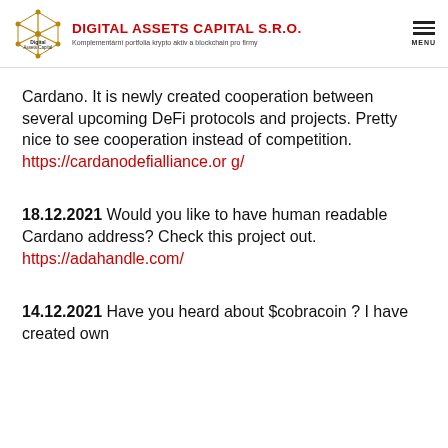DIGITAL ASSETS CAPITAL S.R.O. — Komplementární portfolia krypto aktiv a blockchain pro firmy
Cardano. It is newly created cooperation between several upcoming DeFi protocols and projects. Pretty nice to see cooperation instead of competition. https://cardanodefialliance.org/
18.12.2021 Would you like to have human readable Cardano address? Check this project out. https://adahandle.com/
14.12.2021 Have you heard about $cobracoin ? I have created own